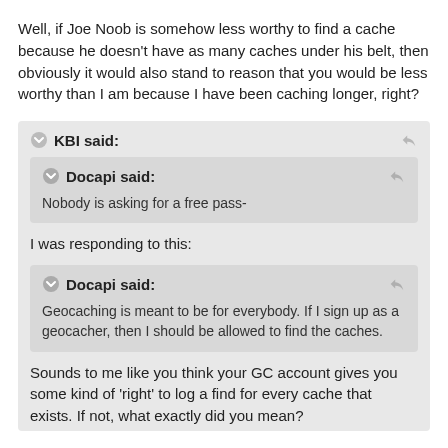Well, if Joe Noob is somehow less worthy to find a cache because he doesn't have as many caches under his belt, then obviously it would also stand to reason that you would be less worthy than I am because I have been caching longer, right?
KBI said:
Docapi said:
Nobody is asking for a free pass-
I was responding to this:
Docapi said:
Geocaching is meant to be for everybody. If I sign up as a geocacher, then I should be allowed to find the caches.
Sounds to me like you think your GC account gives you some kind of 'right' to log a find for every cache that exists. If not, what exactly did you mean?